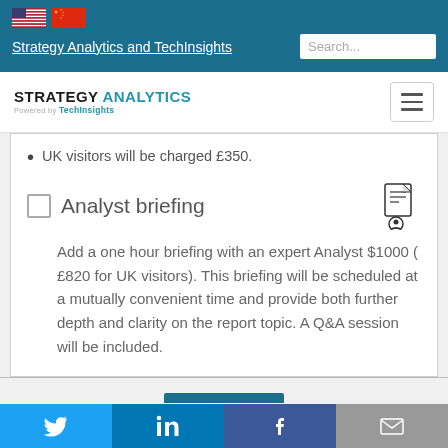Strategy Analytics and TechInsights
[Figure (logo): Strategy Analytics powered by TechInsights logo]
UK visitors will be charged £350.
Analyst briefing
Add a one hour briefing with an expert Analyst $1000 ( £820 for UK visitors). This briefing will be scheduled at a mutually convenient time and provide both further depth and clarity on the report topic. A Q&A session will be included.
Twitter LinkedIn Facebook Email social share bar